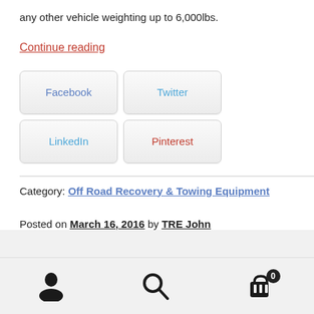any other vehicle weighting up to 6,000lbs.
Continue reading
Facebook  Twitter  LinkedIn  Pinterest
Category: Off Road Recovery & Towing Equipment
Posted on March 16, 2016 by TRE John